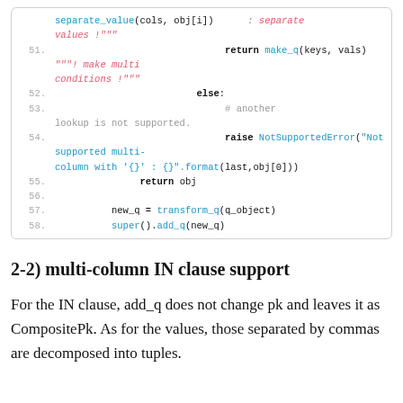[Figure (screenshot): Code block showing Python lines 51-58 with syntax highlighting. Blue for function/method names, pink/red italic for string literals, gray for comments, bold for keywords.]
2-2) multi-column IN clause support
For the IN clause, add_q does not change pk and leaves it as CompositePk. As for the values, those separated by commas are decomposed into tuples.